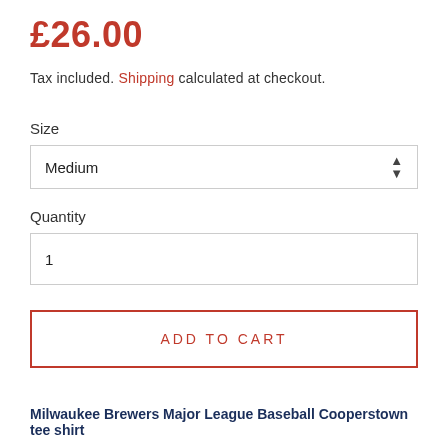£26.00
Tax included. Shipping calculated at checkout.
Size
Medium
Quantity
1
ADD TO CART
Milwaukee Brewers Major League Baseball Cooperstown tee shirt